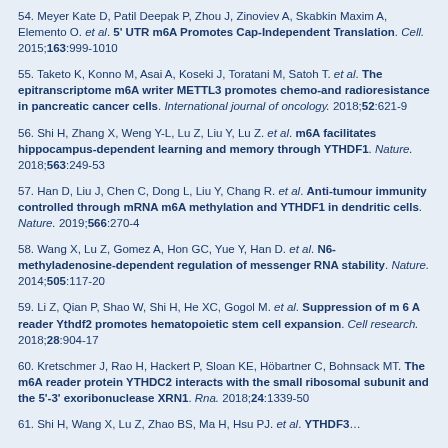54. Meyer Kate D, Patil Deepak P, Zhou J, Zinoviev A, Skabkin Maxim A, Elemento O. et al. 5' UTR m6A Promotes Cap-Independent Translation. Cell. 2015;163:999-1010
55. Taketo K, Konno M, Asai A, Koseki J, Toratani M, Satoh T. et al. The epitranscriptome m6A writer METTL3 promotes chemo-and radioresistance in pancreatic cancer cells. International journal of oncology. 2018;52:621-9
56. Shi H, Zhang X, Weng Y-L, Lu Z, Liu Y, Lu Z. et al. m6A facilitates hippocampus-dependent learning and memory through YTHDF1. Nature. 2018;563:249-53
57. Han D, Liu J, Chen C, Dong L, Liu Y, Chang R. et al. Anti-tumour immunity controlled through mRNA m6A methylation and YTHDF1 in dendritic cells. Nature. 2019;566:270-4
58. Wang X, Lu Z, Gomez A, Hon GC, Yue Y, Han D. et al. N6-methyladenosine-dependent regulation of messenger RNA stability. Nature. 2014;505:117-20
59. Li Z, Qian P, Shao W, Shi H, He XC, Gogol M. et al. Suppression of m 6 A reader Ythdf2 promotes hematopoietic stem cell expansion. Cell research. 2018;28:904-17
60. Kretschmer J, Rao H, Hackert P, Sloan KE, Höbartner C, Bohnsack MT. The m6A reader protein YTHDC2 interacts with the small ribosomal subunit and the 5'-3' exoribonuclease XRN1. Rna. 2018;24:1339-50
61. Shi H, Wang X, Lu Z, Zhao BS, Ma H, Hsu PJ. et al. YTHDF3…